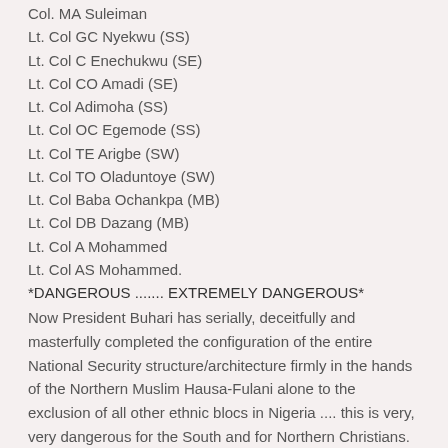Col. MA Suleiman
Lt. Col GC Nyekwu (SS)
Lt. Col C Enechukwu (SE)
Lt. Col CO Amadi (SE)
Lt. Col Adimoha (SS)
Lt. Col OC Egemode (SS)
Lt. Col TE Arigbe (SW)
Lt. Col TO Oladuntoye (SW)
Lt. Col Baba Ochankpa (MB)
Lt. Col DB Dazang (MB)
Lt. Col A Mohammed
Lt. Col AS Mohammed.
*DANGEROUS ....... EXTREMELY DANGEROUS*
Now President Buhari has serially, deceitfully and masterfully completed the configuration of the entire National Security structure/architecture firmly in the hands of the Northern Muslim Hausa-Fulani alone to the exclusion of all other ethnic blocs in Nigeria .... this is very, very dangerous for the South and for Northern Christians.